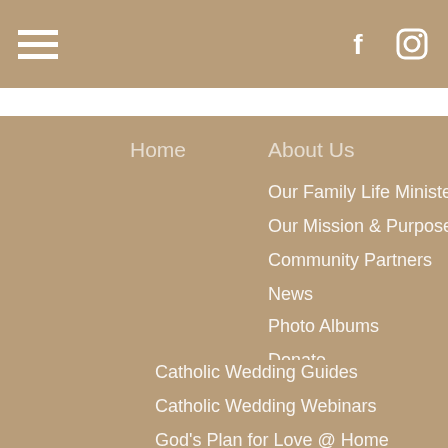Navigation header with hamburger menu, Facebook and Instagram icons
Home
About Us
Our Family Life Ministers
Our Mission & Purpose
Community Partners
News
Photo Albums
Donate
Leaders
Prepare the...
NFP Teacher...
Professional ...
Marriage
Engaged
Catholic Wedding Guides
Catholic Wedding Webinars
God's Plan for Love @ Home
MiCC
Prepare-Enrich
SYMBIS
Remarriage
Family
Natural Family Pl...
NFP The Partn...
Parenting
Parenting
The College Bo...
College Fundin...
Family Finances
Family Financ...